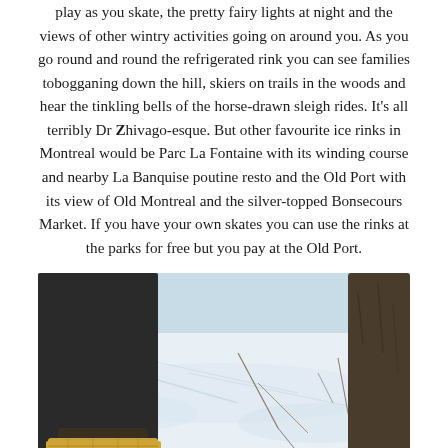play as you skate, the pretty fairy lights at night and the views of other wintry activities going on around you. As you go round and round the refrigerated rink you can see families tobogganing down the hill, skiers on trails in the woods and hear the tinkling bells of the horse-drawn sleigh rides. It's all terribly Dr Zhivago-esque. But other favourite ice rinks in Montreal would be Parc La Fontaine with its winding course and nearby La Banquise poutine resto and the Old Port with its view of Old Montreal and the silver-topped Bonsecours Market. If you have your own skates you can use the rinks at the parks for free but you pay at the Old Port.
[Figure (photo): A close-up photo of someone snowshoeing in winter, showing snowshoes and legs against a white snowy ground with bare tree branches and twigs visible.]